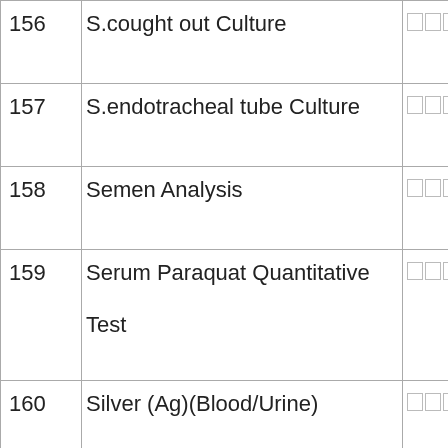| # | Test Name | Thai Name |
| --- | --- | --- |
| 156 | S.cought out Culture | □□□□□□ |
| 157 | S.endotracheal tube Culture | □□□□□□ |
| 158 | Semen Analysis | □□□□ |
| 159 | Serum Paraquat Quantitative Test | □□□□□□□□□ |
| 160 | Silver (Ag)(Blood/Urine) | □□□□□ |
| 161 | Sinus Fungus Culture | □□□□□□ |
| 162 | Skin Fungus Culture | □□□□□□ |
| 163 | Skin TB Culture | □□□□□□□ |